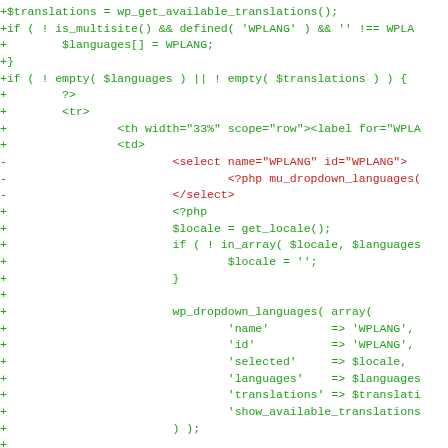[Figure (screenshot): A code diff view showing PHP/HTML code changes. Lines prefixed with '+' are shown in green (additions) and lines prefixed with '-' are shown in red (deletions). The code relates to WordPress language/translation dropdown settings.]